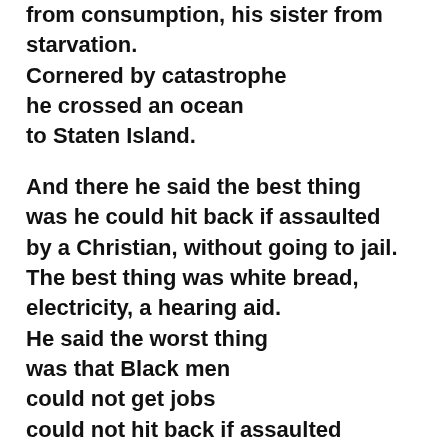from consumption, his sister from starvation.
Cornered by catastrophe
he crossed an ocean
to Staten Island.

And there he said the best thing
was he could hit back if assaulted
by a Christian, without going to jail.
The best thing was white bread,
electricity, a hearing aid.
He said the worst thing
was that Black men
could not get jobs
could not hit back if assaulted
by a white.
He braved the ire of the plumbers' union